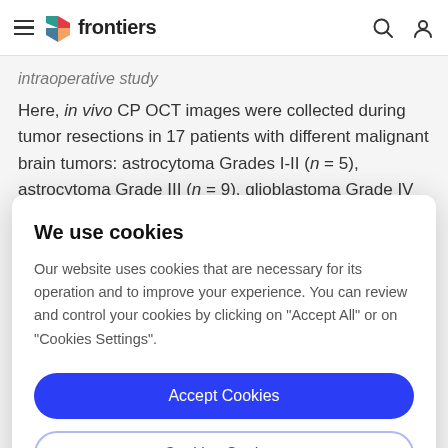frontiers
intraoperative study
Here, in vivo CP OCT images were collected during tumor resections in 17 patients with different malignant brain tumors: astrocytoma Grades I-II (n = 5), astrocytoma Grade III (n = 9), glioblastoma Grade IV (n
We use cookies
Our website uses cookies that are necessary for its operation and to improve your experience. You can review and control your cookies by clicking on "Accept All" or on "Cookies Settings".
Accept Cookies
Cookies Settings